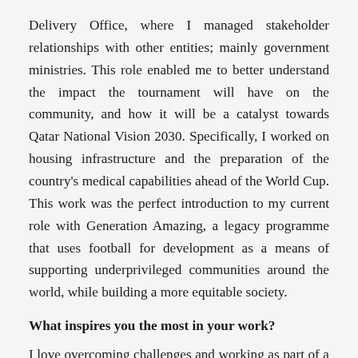Delivery Office, where I managed stakeholder relationships with other entities; mainly government ministries. This role enabled me to better understand the impact the tournament will have on the community, and how it will be a catalyst towards Qatar National Vision 2030. Specifically, I worked on housing infrastructure and the preparation of the country's medical capabilities ahead of the World Cup. This work was the perfect introduction to my current role with Generation Amazing, a legacy programme that uses football for development as a means of supporting underprivileged communities around the world, while building a more equitable society.
What inspires you the most in your work?
I love overcoming challenges and working as part of a multicultural team that respects everyone's